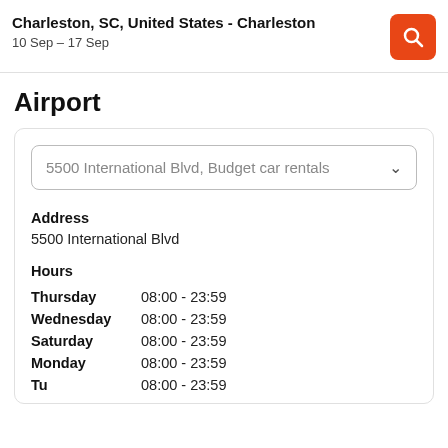Charleston, SC, United States - Charleston
10 Sep – 17 Sep
Airport
5500 International Blvd, Budget car rentals
Address
5500 International Blvd
Hours
Thursday    08:00 - 23:59
Wednesday   08:00 - 23:59
Saturday    08:00 - 23:59
Monday      08:00 - 23:59
Tuesday     08:00 - 23:59